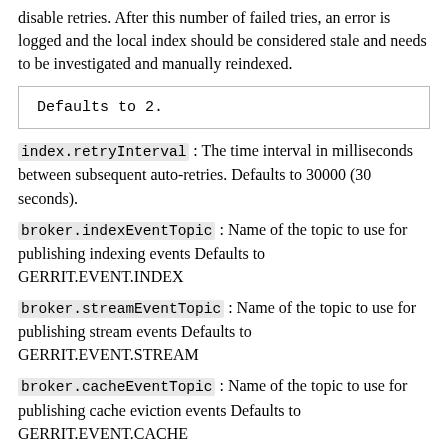disable retries. After this number of failed tries, an error is logged and the local index should be considered stale and needs to be investigated and manually reindexed.
Defaults to 2.
index.retryInterval : The time interval in milliseconds between subsequent auto-retries. Defaults to 30000 (30 seconds).
broker.indexEventTopic : Name of the topic to use for publishing indexing events Defaults to GERRIT.EVENT.INDEX
broker.streamEventTopic : Name of the topic to use for publishing stream events Defaults to GERRIT.EVENT.STREAM
broker.cacheEventTopic : Name of the topic to use for publishing cache eviction events Defaults to GERRIT.EVENT.CACHE
broker.projectListEventTopic : Name of the topic to use for publishing cache eviction events Defaults to GERRIT.EVENT.PROJECT.LIST